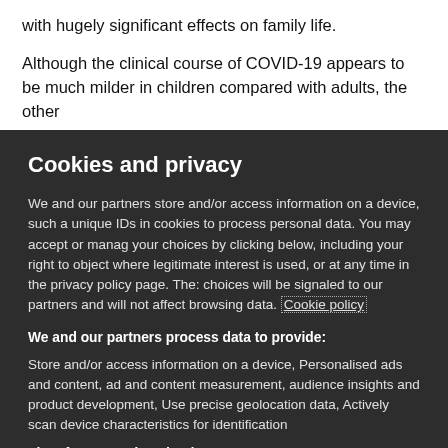with hugely significant effects on family life.
Although the clinical course of COVID-19 appears to be much milder in children compared with adults, the other
Cookies and privacy
We and our partners store and/or access information on a device, such as unique IDs in cookies to process personal data. You may accept or manage your choices by clicking below, including your right to object where legitimate interest is used, or at any time in the privacy policy page. These choices will be signaled to our partners and will not affect browsing data. Cookie policy
We and our partners process data to provide:
Store and/or access information on a device, Personalised ads and content, ad and content measurement, audience insights and product development, Use precise geolocation data, Actively scan device characteristics for identification
List of Partners (vendors)
I Accept